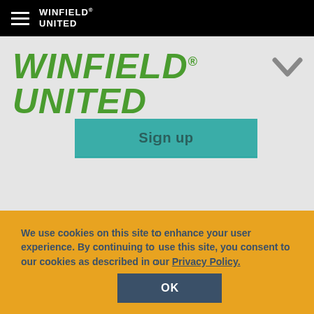WinField United
WinField United
Sign up
We use cookies on this site to enhance your user experience. By continuing to use this site, you consent to our cookies as described in our Privacy Policy.
OK